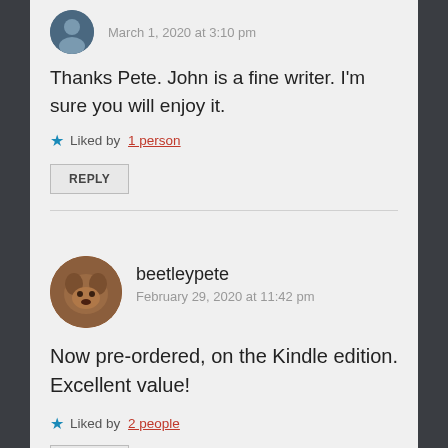March 1, 2020 at 3:10 pm
Thanks Pete. John is a fine writer. I'm sure you will enjoy it.
Liked by 1 person
REPLY
beetleypete
February 29, 2020 at 11:42 pm
Now pre-ordered, on the Kindle edition. Excellent value!
Liked by 2 people
REPLY